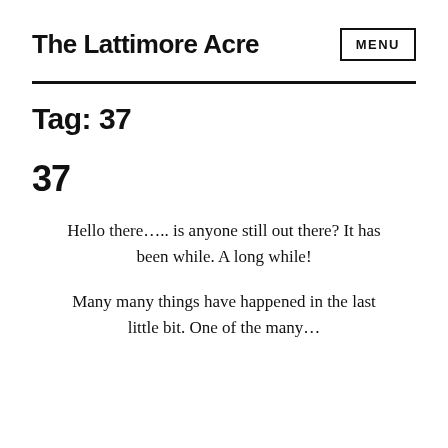The Lattimore Acre
Tag: 37
37
Hello there..... is anyone still out there? It has been while. A long while!
Many many things have happened in the last little bit. One of the many… It was clear, I can't